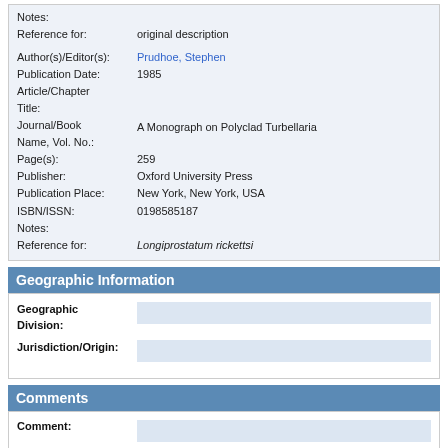| Notes: |  |
| Reference for: | original description |
| Author(s)/Editor(s): | Prudhoe, Stephen |
| Publication Date: | 1985 |
| Article/Chapter Title: |  |
| Journal/Book Name, Vol. No.: | A Monograph on Polyclad Turbellaria |
| Page(s): | 259 |
| Publisher: | Oxford University Press |
| Publication Place: | New York, New York, USA |
| ISBN/ISSN: | 0198585187 |
| Notes: |  |
| Reference for: | Longiprostatum rickettsi |
Geographic Information
| Geographic Division: |  |
| Jurisdiction/Origin: |  |
Comments
| Comment: |  |